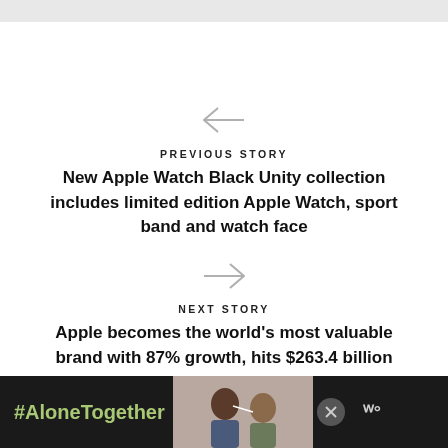[Figure (other): Gray top bar / header strip]
[Figure (other): Left-pointing arrow navigation icon (gray)]
PREVIOUS STORY
New Apple Watch Black Unity collection includes limited edition Apple Watch, sport band and watch face
[Figure (other): Right-pointing arrow navigation icon (gray)]
NEXT STORY
Apple becomes the world's most valuable brand with 87% growth, hits $263.4 billion
[Figure (other): Advertisement banner: dark background with #AloneTogether text in green, photo of people, close button, and logo]